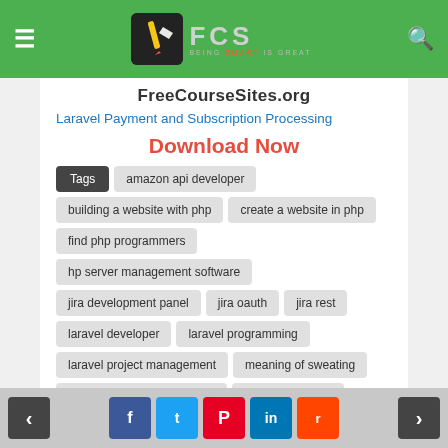FCS FreeCoursvSites.org
FreeCourseSites.org
Laravel Payment and Subscription Processing
Download Now
Tags
amazon api developer
building a website with php
create a website in php
find php programmers
hp server management software
jira development panel
jira oauth
jira rest
laravel developer
laravel programming
laravel project management
meaning of sweating
mozilla developer javascript
mvc frameworks